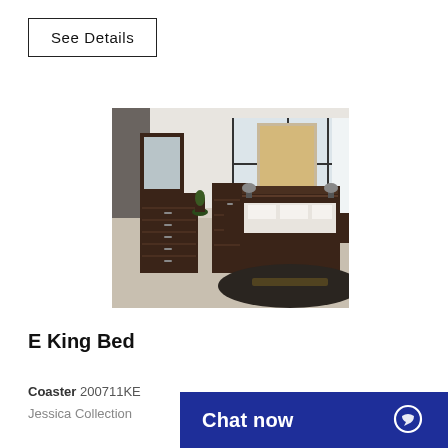See Details
[Figure (photo): Modern dark wood bedroom furniture set with E King Bed, dresser, mirror, nightstands and chest, shown in a bright room with large windows]
E King Bed
Coaster 200711KE
Jessica Collection
Chat now